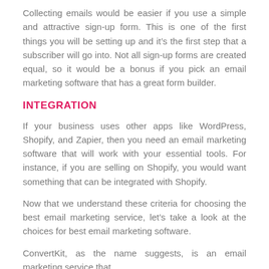Collecting emails would be easier if you use a simple and attractive sign-up form. This is one of the first things you will be setting up and it's the first step that a subscriber will go into. Not all sign-up forms are created equal, so it would be a bonus if you pick an email marketing software that has a great form builder.
INTEGRATION
If your business uses other apps like WordPress, Shopify, and Zapier, then you need an email marketing software that will work with your essential tools. For instance, if you are selling on Shopify, you would want something that can be integrated with Shopify.
Now that we understand these criteria for choosing the best email marketing service, let's take a look at the choices for best email marketing software.
ConvertKit, as the name suggests, is an email marketing service that...